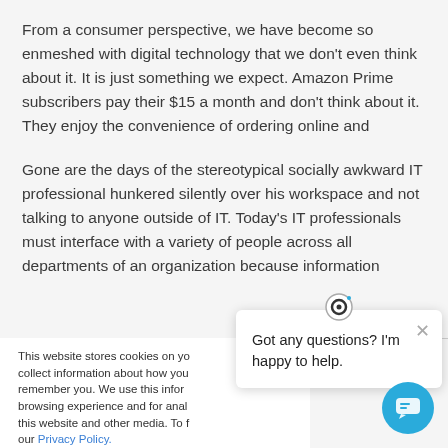From a consumer perspective, we have become so enmeshed with digital technology that we don't even think about it. It is just something we expect. Amazon Prime subscribers pay their $15 a month and don't think about it. They enjoy the convenience of ordering online and
Gone are the days of the stereotypical socially awkward IT professional hunkered silently over his workspace and not talking to anyone outside of IT. Today's IT professionals must interface with a variety of people across all departments of an organization because information
This website stores cookies on yo... collect information about how you... remember you. We use this infor... browsing experience and for anal... this website and other media. To f... our Privacy Policy.
Got any questions? I'm happy to help.